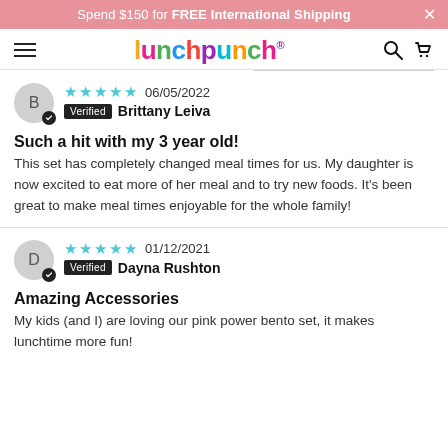Spend $150 for FREE International Shipping
[Figure (logo): lunchpunch colorful logo with hamburger menu and nav icons]
★★★★★ 06/05/2022 Verified Brittany Leiva
Such a hit with my 3 year old!
This set has completely changed meal times for us. My daughter is now excited to eat more of her meal and to try new foods. It's been great to make meal times enjoyable for the whole family!
★★★★★ 01/12/2021 Verified Dayna Rushton
Amazing Accessories
My kids (and I) are loving our pink power bento set, it makes lunchtime more fun!